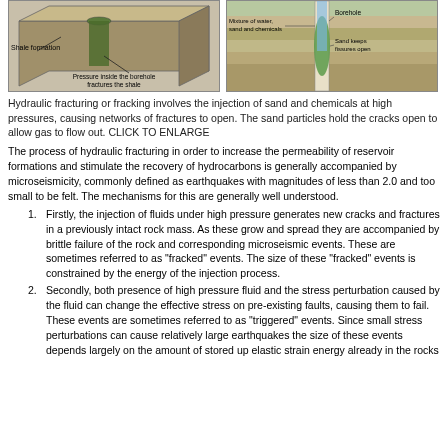[Figure (engineering-diagram): Two diagrams of hydraulic fracturing process. Left diagram shows a 3D block of shale formation with labels 'Shale formation' and 'Pressure inside the borehole fractures the shale'. Right diagram shows a cross-section of a borehole with labels 'Mixture of water, sand and chemicals', 'Borehole', and 'Sand keeps fissures open'.]
Hydraulic fracturing or fracking involves the injection of sand and chemicals at high pressures, causing networks of fractures to open. The sand particles hold the cracks open to allow gas to flow out. CLICK TO ENLARGE
The process of hydraulic fracturing in order to increase the permeability of reservoir formations and stimulate the recovery of hydrocarbons is generally accompanied by microseismicity, commonly defined as earthquakes with magnitudes of less than 2.0 and too small to be felt. The mechanisms for this are generally well understood.
Firstly, the injection of fluids under high pressure generates new cracks and fractures in a previously intact rock mass. As these grow and spread they are accompanied by brittle failure of the rock and corresponding microseismic events. These are sometimes referred to as "fracked" events. The size of these "fracked" events is constrained by the energy of the injection process.
Secondly, both presence of high pressure fluid and the stress perturbation caused by the fluid can change the effective stress on pre-existing faults, causing them to fail. These events are sometimes referred to as "triggered" events. Since small stress perturbations can cause relatively large earthquakes the size of these events depends largely on the amount of stored up elastic strain energy already in the rocks